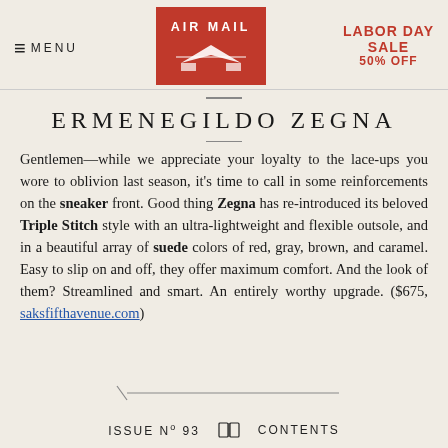≡ MENU | AIR MAIL | LABOR DAY SALE 50% OFF
ERMENEGILDO ZEGNA
Gentlemen—while we appreciate your loyalty to the lace-ups you wore to oblivion last season, it's time to call in some reinforcements on the sneaker front. Good thing Zegna has re-introduced its beloved Triple Stitch style with an ultra-lightweight and flexible outsole, and in a beautiful array of suede colors of red, gray, brown, and caramel. Easy to slip on and off, they offer maximum comfort. And the look of them? Streamlined and smart. An entirely worthy upgrade. ($675, saksfifthavenue.com)
ISSUE Nº 93  CONTENTS